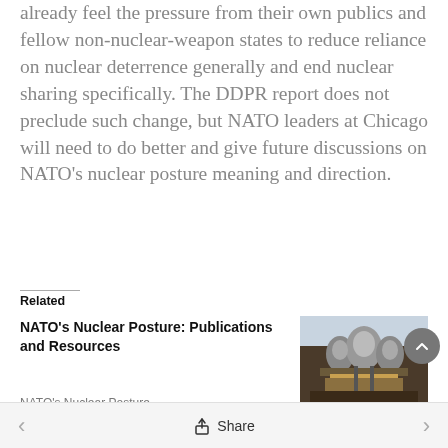already feel the pressure from their own publics and fellow non-nuclear-weapon states to reduce reliance on nuclear deterrence generally and end nuclear sharing specifically. The DDPR report does not preclude such change, but NATO leaders at Chicago will need to do better and give future discussions on NATO’s nuclear posture meaning and direction.
Related
NATO’s Nuclear Posture: Publications and Resources
NATO’s Nuclear Posture Publications
[Figure (photo): Close-up photograph of military aircraft engines or weapons systems with metallic components visible]
< Share >